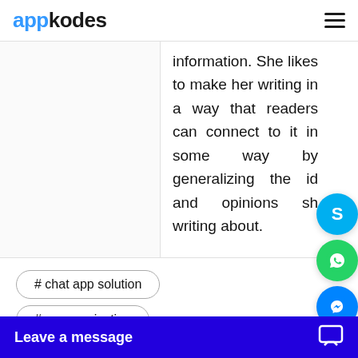appkodes
information. She likes to make her writing in a way that readers can connect to it in some way by generalizing the ideas and opinions she writing about.
# chat app solution
# communication
Leave a message